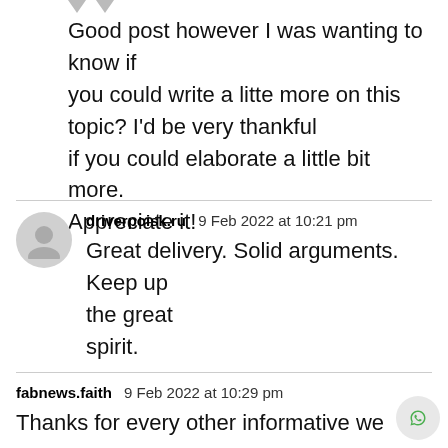Good post however I was wanting to know if you could write a litte more on this topic? I'd be very thankful if you could elaborate a little bit more. Appreciate it!
driverpoisk.ru  9 Feb 2022 at 10:21 pm
Great delivery. Solid arguments. Keep up the great spirit.
fabnews.faith  9 Feb 2022 at 10:29 pm
Thanks for every other informative we...